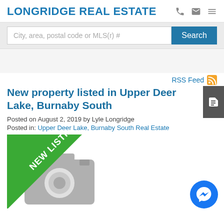LONGRIDGE REAL ESTATE
City, area, postal code or MLS(r) #
New property listed in Upper Deer Lake, Burnaby South
Posted on August 2, 2019 by Lyle Longridge
Posted in: Upper Deer Lake, Burnaby South Real Estate
[Figure (photo): New listing placeholder image with camera icon and green 'NEW LISTING' banner diagonal overlay]
RSS Feed